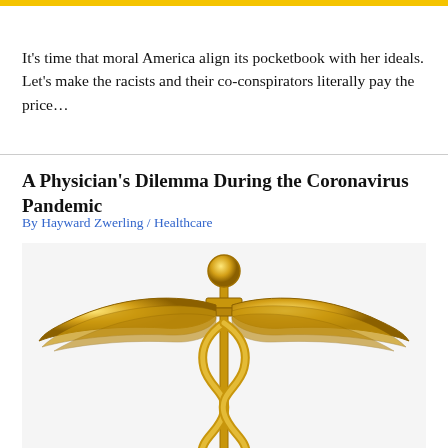[Figure (illustration): Yellow horizontal banner bar at top of page]
It’s time that moral America align its pocketbook with her ideals. Let’s make the racists and their co-conspirators literally pay the price…
A Physician’s Dilemma During the Coronavirus Pandemic
By Hayward Zwerling / Healthcare
[Figure (illustration): Gold caduceus medical symbol with wings and two serpents intertwined around a staff]